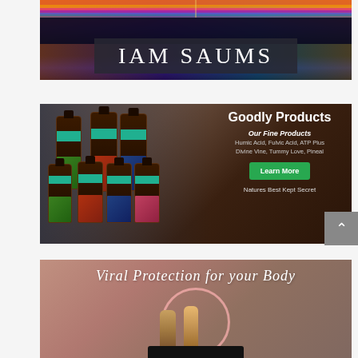[Figure (illustration): IAM SAUMS logo banner with colorful sunset sky background and dark text box]
[Figure (illustration): Goodly Products advertisement with dark bottles on left and product info on right: Humic Acid, Fulvic Acid, ATP Plus, Divine Vine, Tummy Love, Pineal. Learn More button. Natures Best Kept Secret.]
[Figure (illustration): Viral Protection for your Body banner with pink/mauve background, cursive text, glowing ring, and roll-on bottle products]